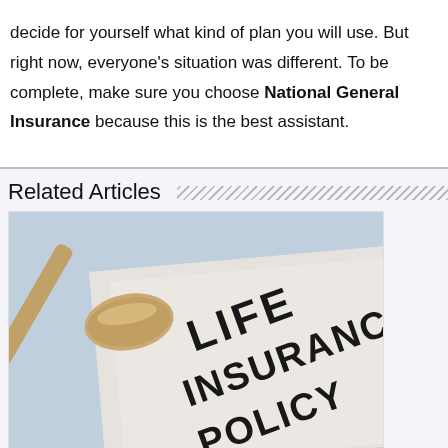decide for yourself what kind of plan you will use. But right now, everyone's situation was different. To be complete, make sure you choose National General Insurance because this is the best assistant.
Related Articles
[Figure (photo): A wooden gavel resting on a document that reads 'LIFE INSURANCE POLICY' in large block letters.]